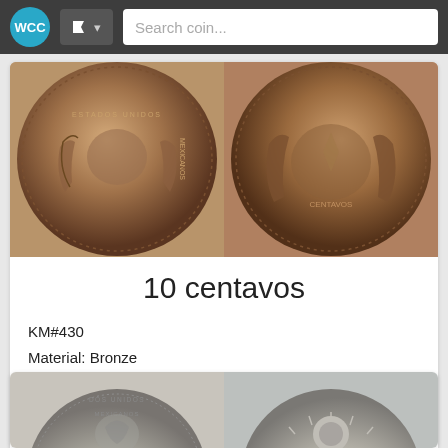WCC | Search coin...
[Figure (photo): Two bronze coins showing obverse and reverse of a 10 centavos coin, featuring eagle and wreath designs]
10 centavos
KM#430
Material: Bronze
Years: 1919, 1920, 1921, 1935
¡Buy on Ebay!
[Figure (photo): Two silver coins partially visible at bottom of page]